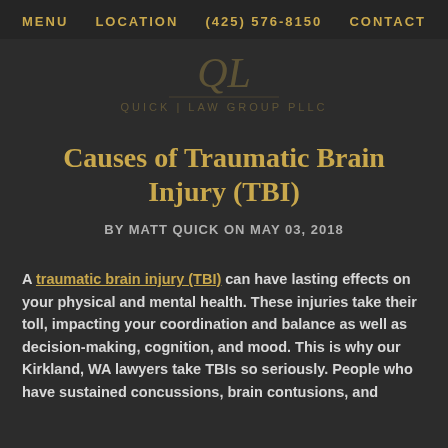MENU   LOCATION   (425) 576-8150   CONTACT
[Figure (logo): Quick Law Group PLLC logo with QL monogram, displayed in muted/watermark style]
Causes of Traumatic Brain Injury (TBI)
BY MATT QUICK ON MAY 03, 2018
A traumatic brain injury (TBI) can have lasting effects on your physical and mental health. These injuries take their toll, impacting your coordination and balance as well as decision-making, cognition, and mood. This is why our Kirkland, WA lawyers take TBIs so seriously. People who have sustained concussions, brain contusions, and